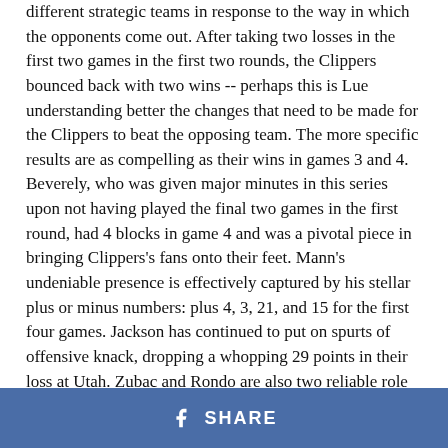different strategic teams in response to the way in which the opponents come out. After taking two losses in the first two games in the first two rounds, the Clippers bounced back with two wins -- perhaps this is Lue understanding better the changes that need to be made for the Clippers to beat the opposing team. The more specific results are as compelling as their wins in games 3 and 4. Beverely, who was given major minutes in this series upon not having played the final two games in the first round, had 4 blocks in game 4 and was a pivotal piece in bringing Clippers's fans onto their feet. Mann's undeniable presence is effectively captured by his stellar plus or minus numbers: plus 4, 3, 21, and 15 for the first four games. Jackson has continued to put on spurts of offensive knack, dropping a whopping 29 points in their loss at Utah. Zubac and Rondo are also two reliable role players who can turn the switch on whenever their names are called on. In short, the Clippers' depth works in harmony with Lue's
SHARE